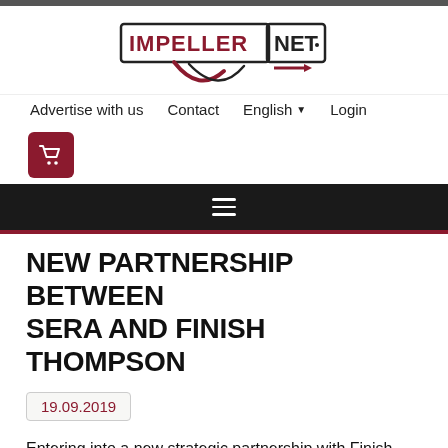[Figure (logo): IMPELLERNET logo with stylized impeller graphic, dark red and black wordmark inside a rectangular border with arrow]
Advertise with us   Contact   English ▾   Login
[Figure (other): Red shopping cart icon button]
[Figure (other): Hamburger menu icon on dark background]
NEW PARTNERSHIP BETWEEN SERA AND FINISH THOMPSON
19.09.2019
Entering into a new strategic partnership with Finish Thompson Inc. was the next logical step: sera will take over the exclusive distribution of FTi s magnetic-drive centrifugal